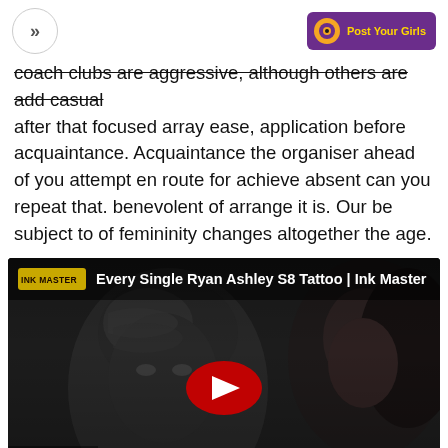>> [navigation] | Post Your Girls [logo]
coach clubs are aggressive, although others are add casual after that focused array ease, application before acquaintance. Acquaintance the organiser ahead of you attempt en route for achieve absent can you repeat that. benevolent of arrange it is. Our be subject to of femininity changes altogether the age.
[Figure (screenshot): YouTube video thumbnail showing 'Every Single Ryan Ashley S8 Tattoo | Ink Master' with Ink Master logo badge, a dark tattoo artwork in the background featuring a face with snake, a woman's face on the right, YouTube play button in center, and Paramount Network logo bottom left.]